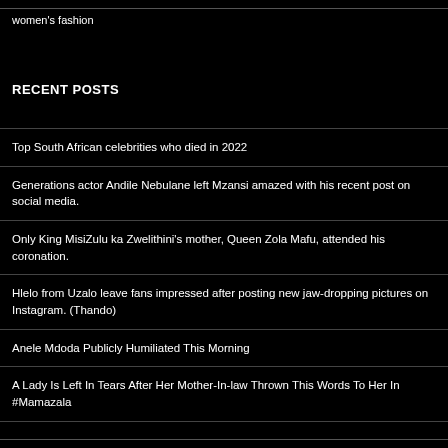women's fashion
RECENT POSTS
Top South African celebrities who died in 2022
Generations actor Andile Nebulane left Mzansi amazed with his recent post on social media.
Only King MisiZulu ka Zwelithini's mother, Queen Zola Mafu, attended his coronation.
Hlelo from Uzalo leave fans impressed after posting new jaw-dropping pictures on Instagram. (Thando)
Anele Mdoda Publicly Humiliated This Morning
A Lady Is Left In Tears After Her Mother-In-law Thrown This Words To Her In #Mamazala